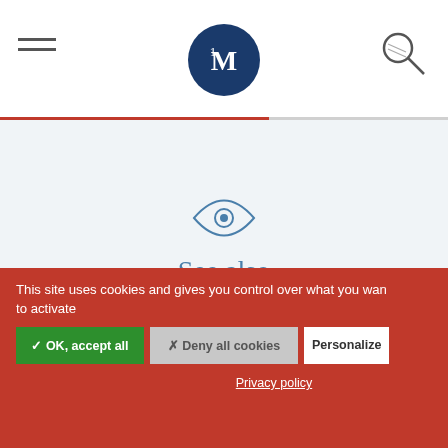[Figure (logo): Website header with hamburger menu icon on left, circular dark blue logo with 'M' and '1' letters in center, magnifying glass search icon on right, red and gray progress bar below]
See also
[Figure (photo): Two thumbnail images side by side: left shows hands with colorful mosaic/flowers, right shows building facade/window]
This site uses cookies and gives you control over what you want to activate
✓ OK, accept all
✗ Deny all cookies
Personalize
Privacy policy